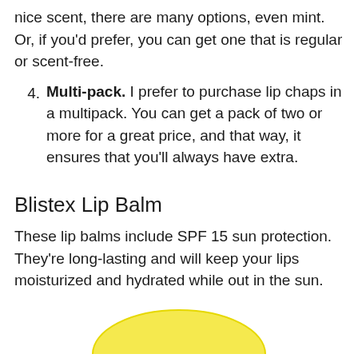nice scent, there are many options, even mint. Or, if you'd prefer, you can get one that is regular or scent-free.
Multi-pack. I prefer to purchase lip chaps in a multipack. You can get a pack of two or more for a great price, and that way, it ensures that you'll always have extra.
Blistex Lip Balm
These lip balms include SPF 15 sun protection. They're long-lasting and will keep your lips moisturized and hydrated while out in the sun.
[Figure (illustration): Yellow arc/ellipse shape at the bottom of the page, partially visible, likely the top of a Blistex lip balm product image.]